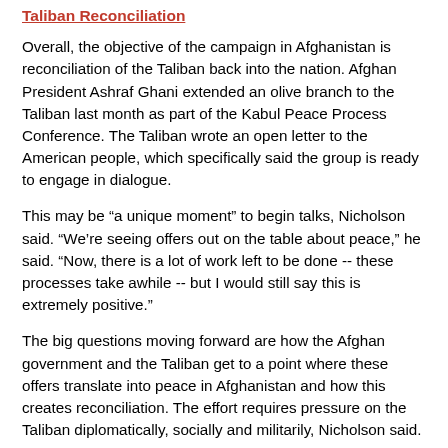Taliban Reconciliation
Overall, the objective of the campaign in Afghanistan is reconciliation of the Taliban back into the nation. Afghan President Ashraf Ghani extended an olive branch to the Taliban last month as part of the Kabul Peace Process Conference. The Taliban wrote an open letter to the American people, which specifically said the group is ready to engage in dialogue.
This may be “a unique moment” to begin talks, Nicholson said. “We’re seeing offers out on the table about peace,” he said. “Now, there is a lot of work left to be done -- these processes take awhile -- but I would still say this is extremely positive.”
The big questions moving forward are how the Afghan government and the Taliban get to a point where these offers translate into peace in Afghanistan and how this creates reconciliation. The effort requires pressure on the Taliban diplomatically, socially and militarily, Nicholson said.
Use of Diplomacy